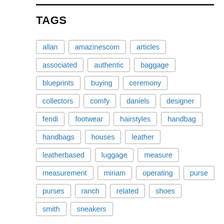TAGS
allan
amazinescom
articles
associated
authentic
baggage
blueprints
buying
ceremony
collectors
comfy
daniels
designer
fendi
footwear
hairstyles
handbag
handbags
houses
leather
leatherbased
luggage
measure
measurement
miriam
operating
purse
purses
ranch
related
shoes
smith
sneakers